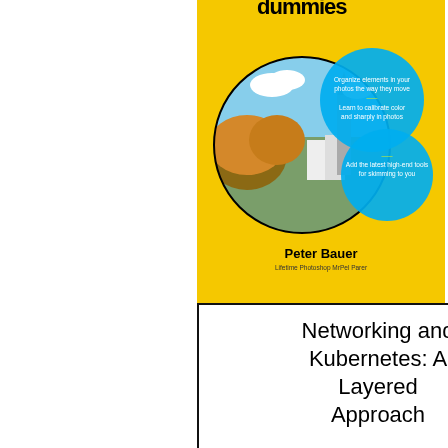[Figure (illustration): Top portion of a 'For Dummies' book cover with yellow background, circular photo of a European village with church tower, blue circles with promotional text, and author name Peter Bauer]
[Figure (illustration): Book cover with black border and white background showing title 'Networking and Kubernetes: A Layered Approach' in large sans-serif text]
[Figure (illustration): Top portion of an O'Reilly book cover with gray background, pink/magenta O'Reilly header bar, '2nd Edition' banner, and illustration of a cow's head]